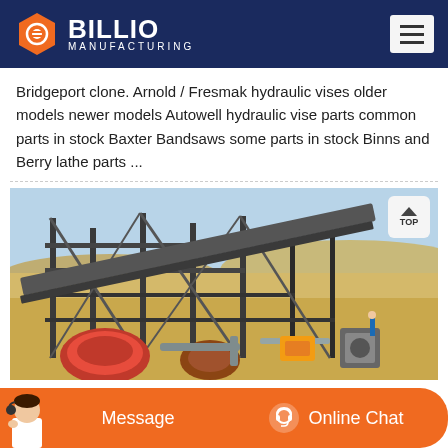BILLIO MANUFACTURING
Bridgeport clone. Arnold / Fresmak hydraulic vises older models newer models Autowell hydraulic vise parts common parts in stock Baxter Bandsaws some parts in stock Binns and Berry lathe parts ...
[Figure (photo): Industrial mining or quarrying facility with large steel framework structures, conveyor belts, and heavy machinery on a dry sandy landscape under clear sky.]
Message | Online Chat